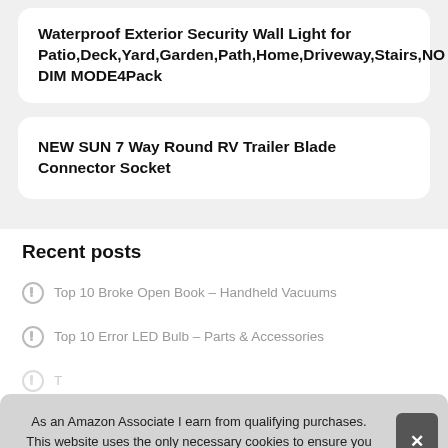Waterproof Exterior Security Wall Light for Patio,Deck,Yard,Garden,Path,Home,Driveway,Stairs,NO DIM MODE4Pack
NEW SUN 7 Way Round RV Trailer Blade Connector Socket
Recent posts
Top 10 Broke Open Book – Handheld Vacuums
Top 10 Error LED Bulb – Parts & Accessories
T
T ... Parts
T
As an Amazon Associate I earn from qualifying purchases. This website uses the only necessary cookies to ensure you get the best experience on our website. More information